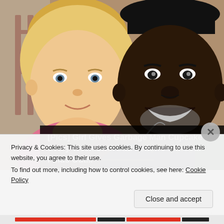[Figure (photo): Photo of a young blond girl on the left and a smiling Black man wearing a blue shirt and green jacket on the right, appearing to be taking a selfie together. Media player controls (skip back, pause, skip forward) and a progress bar are overlaid on the lower right of the image.]
[Pics] Girl Gives Garbage Man Cupcake Every Week Until Dad Follows Him And Finds Out...
Privacy & Cookies: This site uses cookies. By continuing to use this website, you agree to their use.
To find out more, including how to control cookies, see here: Cookie Policy
Close and accept